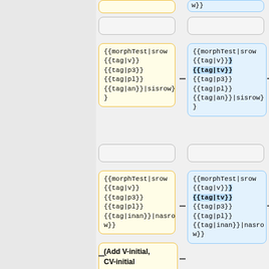{{morphTest|srow {{tag|v}}{{tag|p3}} {{tag|pl}} {{tag|an}}|sisrow} }
{{morphTest|srow {{tag|v}}}{{tag|tv}} {{tag|p3}} {{tag|pl}} {{tag|an}}|sisrow} }
{{morphTest|srow {{tag|v}}{{tag|p3}} {{tag|pl}} {{tag|inan}}|nasrow}}
{{morphTest|srow {{tag|v}}}{{tag|tv}} {{tag|p3}} {{tag|pl}} {{tag|inan}}|nasrow}}
(Add V-initial, CV-initial examples and